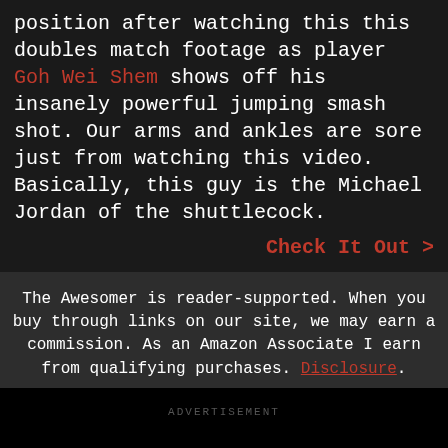position after watching this this doubles match footage as player Goh Wei Shem shows off his insanely powerful jumping smash shot. Our arms and ankles are sore just from watching this video. Basically, this guy is the Michael Jordan of the shuttlecock.
Check It Out >
The Awesomer is reader-supported. When you buy through links on our site, we may earn a commission. As an Amazon Associate I earn from qualifying purchases. Disclosure.
ADVERTISEMENT